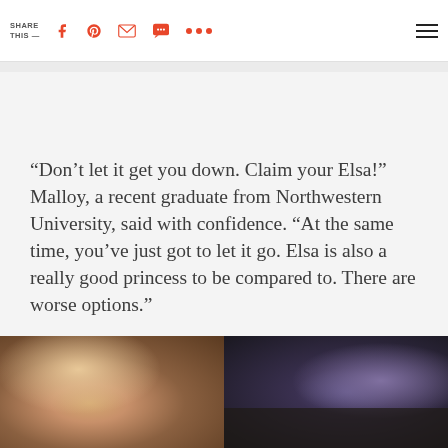SHARE THIS —
“Don’t let it get you down. Claim your Elsa!” Malloy, a recent graduate from Northwestern University, said with confidence. “At the same time, you’ve just got to let it go. Elsa is also a really good princess to be compared to. There are worse options.”
[Figure (photo): Two side-by-side photos: left shows a person (possibly a child) smiling, right shows graduates in caps and gowns at a commencement ceremony.]